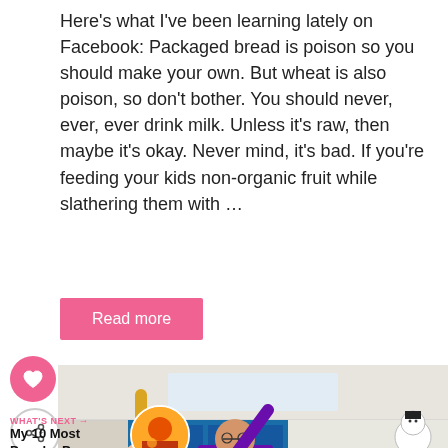Here's what I've been learning lately on Facebook: Packaged bread is poison so you should make your own. But wheat is also poison, so don't bother. You should never, ever, ever drink milk. Unless it's raw, then maybe it's okay. Never mind, it's bad. If you're feeding your kids non-organic fruit while slathering them with …
Read more
[Figure (photo): Classroom photo showing children raising their hands; a teacher in a purple shirt is visible, along with students in a red shirt and other clothing. Christmas/winter decorations including a snowman are visible in the background.]
WHAT'S NEXT → My 10 Most Popular Pos...